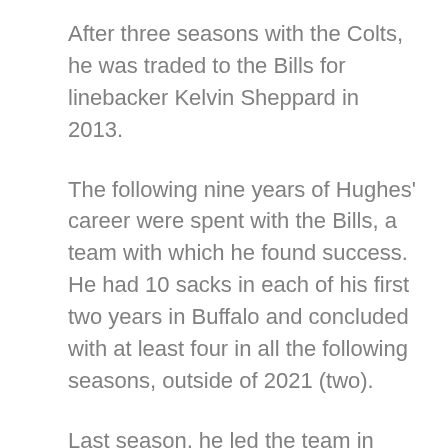After three seasons with the Colts, he was traded to the Bills for linebacker Kelvin Sheppard in 2013.
The following nine years of Hughes' career were spent with the Bills, a team with which he found success. He had 10 sacks in each of his first two years in Buffalo and concluded with at least four in all the following seasons, outside of 2021 (two).
Last season, he led the team in pass rush win rate (20.9%). Hughes is fourth all time in Bills history with 53 sacks and has 58 total in his career. He also has seven postseason sacks.
Hughes has been a longtime leader of the team's